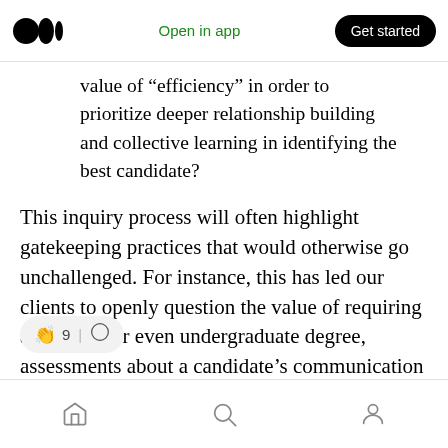Medium app header — logo, Open in app, Get started
value of “efficiency” in order to prioritize deeper relationship building and collective learning in identifying the best candidate?
This inquiry process will often highlight gatekeeping practices that would otherwise go unchallenged. For instance, this has led our clients to openly question the value of requiring a graduate or even undergraduate degree, assessments about a candidate’s communication style, and the weight of a single negative reference by a white-bodied supervisor.
Home, Search, Profile navigation icons